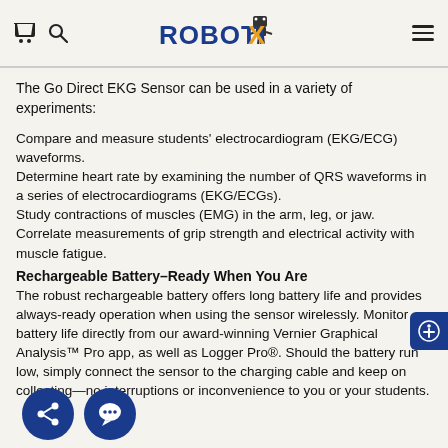ROBOTIX
The Go Direct EKG Sensor can be used in a variety of experiments:
Compare and measure students' electrocardiogram (EKG/ECG) waveforms.
Determine heart rate by examining the number of QRS waveforms in a series of electrocardiograms (EKG/ECGs).
Study contractions of muscles (EMG) in the arm, leg, or jaw.
Correlate measurements of grip strength and electrical activity with muscle fatigue.
Rechargeable Battery–Ready When You Are
The robust rechargeable battery offers long battery life and provides always-ready operation when using the sensor wirelessly. Monitor battery life directly from our award-winning Vernier Graphical Analysis™ Pro app, as well as Logger Pro®. Should the battery run low, simply connect the sensor to the charging cable and keep on collecting—no interruptions or inconvenience to you or your students.